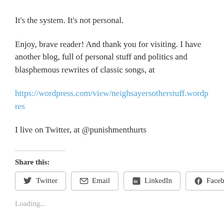It's the system. It's not personal.
Enjoy, brave reader! And thank you for visiting. I have another blog, full of personal stuff and politics and blasphemous rewrites of classic songs, at
https://wordpress.com/view/neighsayersotherstuff.wordpres
I live on Twitter, at @punishmenthurts
Share this:
Twitter  Email  LinkedIn  Facebook
Loading...